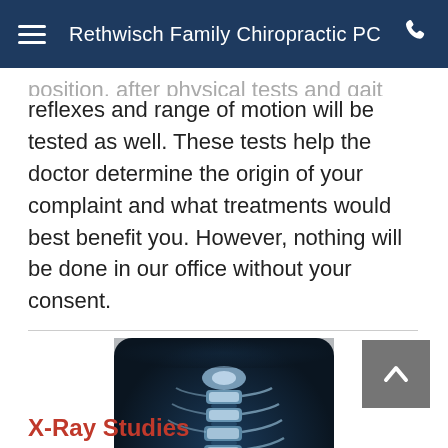Rethwisch Family Chiropractic PC
position, after physical tests and gait analysis, your reflexes and range of motion will be tested as well. These tests help the doctor determine the origin of your complaint and what treatments would best benefit you. However, nothing will be done in our office without your consent.
[Figure (photo): X-ray image of a cervical spine (neck vertebrae), showing lateral view of the spinal column in blue-tinted radiograph style]
X-Ray Studies
Depending on your specific condition and the findings from the consultation, we may want to take X-rays in